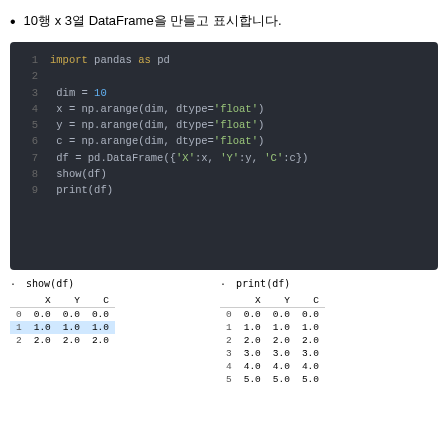10행 x 3열 DataFrame을 만들고 표시합니다.
[Figure (screenshot): Dark-themed code editor showing Python code: import pandas as pd, dim=10, x/y/c = np.arange(dim, dtype='float'), df = pd.DataFrame({'X':x,'Y':y,'C':c}), show(df), print(df)]
|  | X | Y | C |
| --- | --- | --- | --- |
| 0 | 0.0 | 0.0 | 0.0 |
| 1 | 1.0 | 1.0 | 1.0 |
| 2 | 2.0 | 2.0 | 2.0 |
|  | X | Y | C |
| --- | --- | --- | --- |
| 0 | 0.0 | 0.0 | 0.0 |
| 1 | 1.0 | 1.0 | 1.0 |
| 2 | 2.0 | 2.0 | 2.0 |
| 3 | 3.0 | 3.0 | 3.0 |
| 4 | 4.0 | 4.0 | 4.0 |
| 5 | 5.0 | 5.0 | 5.0 |